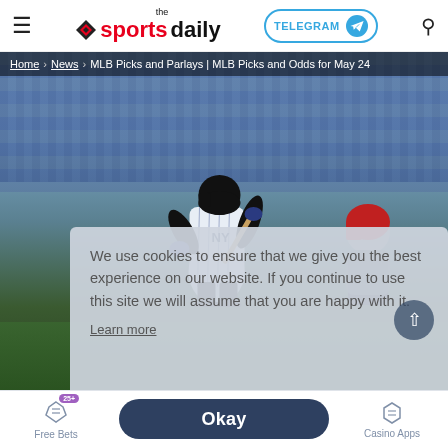the sportsdaily — TELEGRAM — Search
Home › News › MLB Picks and Parlays | MLB Picks and Odds for May 24
[Figure (photo): A New York Yankees batter in white pinstripe uniform swinging at a pitch, with a catcher in red helmet crouching behind home plate, and a stadium crowd in the background.]
We use cookies to ensure that we give you the best experience on our website. If you continue to use this site we will assume that you are happy with it.
Learn more
NEWS
Free Bets
Sportsbooks
Betting Apps
Casino Apps
Okay